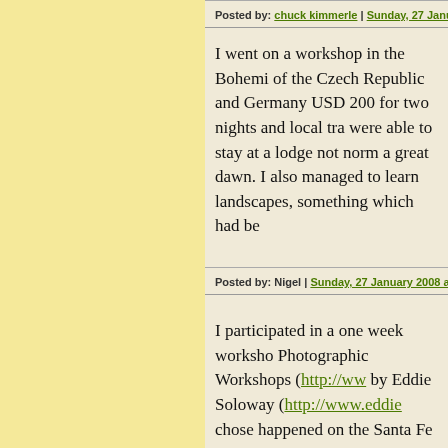Posted by: chuck kimmerle | Sunday, 27 January 2008
I went on a workshop in the Bohemi of the Czech Republic and Germany USD 200 for two nights and local tra were able to stay at a lodge not norm a great dawn. I also managed to learn landscapes, something which had be
Posted by: Nigel | Sunday, 27 January 2008 at 01:16 P
I participated in a one week worksho Photographic Workshops (http://www by Eddie Soloway (http://www.eddie chose happened on the Santa Fe Wor
Of the 150 or so people attending wo there, probably 25% were returning